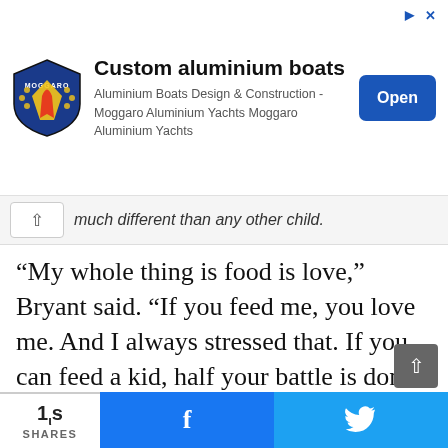[Figure (other): Advertisement banner for Custom aluminium boats by Moggaro Aluminium Yachts with logo, description text, and Open button]
much different than any other child.
“My whole thing is food is love,” Bryant said. “If you feed me, you love me. And I always stressed that. If you can feed a kid, half your battle is done. So I always had an open-door policy with food.”
Br… s to his home — a ra… ren.
“W… don’t have keys. It’s… r own. Even
[Figure (photo): Overlaid video thumbnail showing a woman in a yellow dress, with THE RACE FOUNDATION watermark text]
1ιs
SHARES